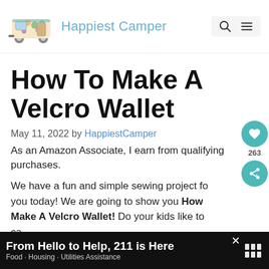Happiest Camper
How To Make A Velcro Wallet
May 11, 2022 by HappiestCamper
As an Amazon Associate, I earn from qualifying purchases.
We have a fun and simple sewing project for you today! We are going to show you How To Make A Velcro Wallet! Do your kids like to carry money? Do you want to keep more money on the go? Do
From Hello to Help, 211 is Here — Food · Housing · Utilities Assistance